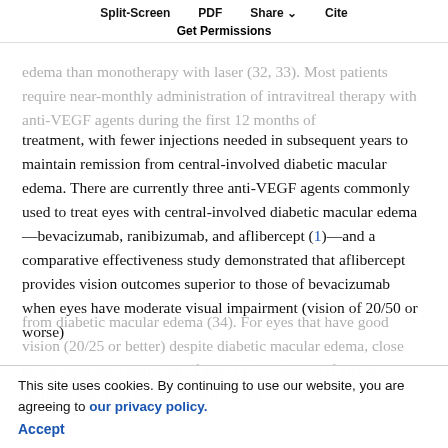Split-Screen  PDF  Share  Cite  Get Permissions
edema than monotherapy with laser (32, 33). Most patients require near-monthly administration of intravitreal therapy with anti-VEGF agents during the first 12 months of treatment, with fewer injections needed in subsequent years to maintain remission from central-involved diabetic macular edema. There are currently three anti-VEGF agents commonly used to treat eyes with central-involved diabetic macular edema—bevacizumab, ranibizumab, and aflibercept (1)—and a comparative effectiveness study demonstrated that aflibercept provides vision outcomes superior to those of bevacizumab when eyes have moderate visual impairment (vision of 20/50 or worse)
from diabetic macular edema (34). For eyes that have good vision (20/25 or better) despite diabetic macular edema, close monitoring with initiation of anti-VEGF therapy if vision worsens provides similar 2-year vision
This site uses cookies. By continuing to use our website, you are agreeing to our privacy policy. Accept